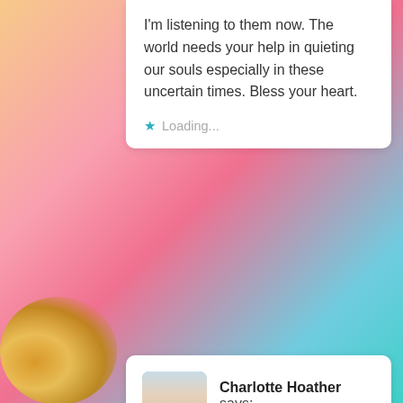I'm listening to them now. The world needs your help in quieting our souls especially in these uncertain times. Bless your heart.
Loading...
[Figure (photo): Profile photo of Charlotte Hoather, a woman with blonde hair]
Charlotte Hoather says:
March 21, 2022 at 9:06 pm
I will take a listen Sheila thanks for the recommendation, take it easy two adventurous children are hard work for sure. Bless you and your lovely family 😘
Loading...